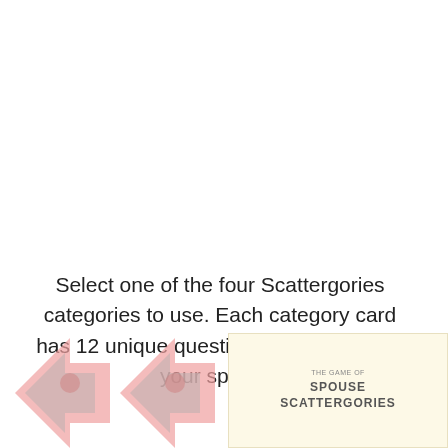Select one of the four Scattergories categories to use. Each category card has 12 unique questions that all refer to your spouse!
[Figure (illustration): Bottom section showing Scattergories game card images: two pink arrow logos on the left and a cream/yellow colored Spouse Scattergories card on the right with 'THE GAME OF SPOUSE SCATTERGORIES' text.]